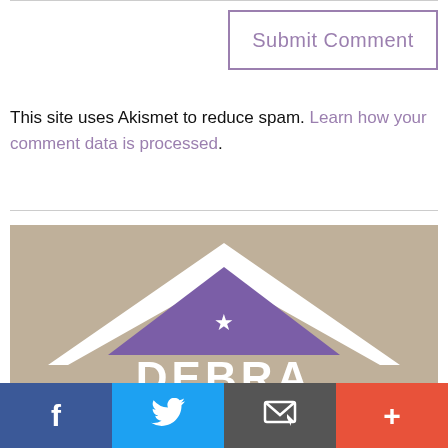Submit Comment
This site uses Akismet to reduce spam. Learn how your comment data is processed.
[Figure (logo): Debra real estate or similar brand logo: beige/tan background with a white roof/chevron shape, purple triangle with a white star inside, and white bold text 'DEBRA' at the bottom.]
Facebook | Twitter | Email | More